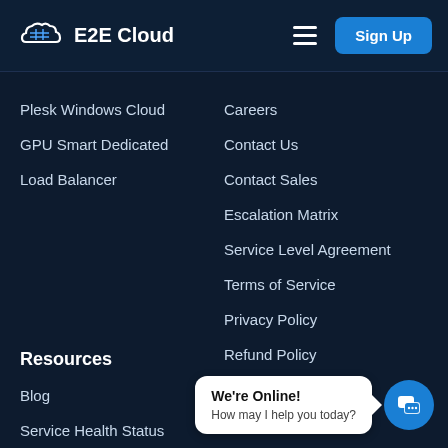E2E Cloud
Plesk Windows Cloud
GPU Smart Dedicated
Load Balancer
Careers
Contact Us
Contact Sales
Escalation Matrix
Service Level Agreement
Terms of Service
Privacy Policy
Refund Policy
Policy FAQ
Resources
Blog
Service Health Status
We're Online! How may I help you today?